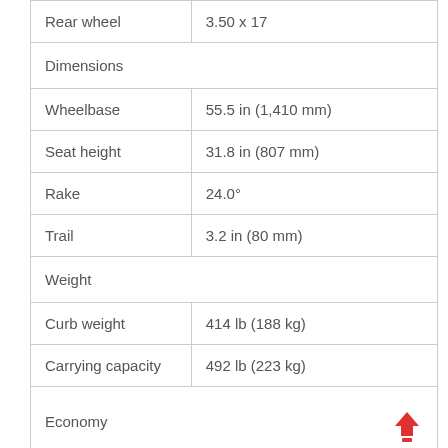| Rear wheel | 3.50 x 17 |
| Dimensions |  |
| Wheelbase | 55.5 in (1,410 mm) |
| Seat height | 31.8 in (807 mm) |
| Rake | 24.0° |
| Trail | 3.2 in (80 mm) |
| Weight |  |
| Curb weight | 414 lb (188 kg) |
| Carrying capacity | 492 lb (223 kg) |
| Economy |  |